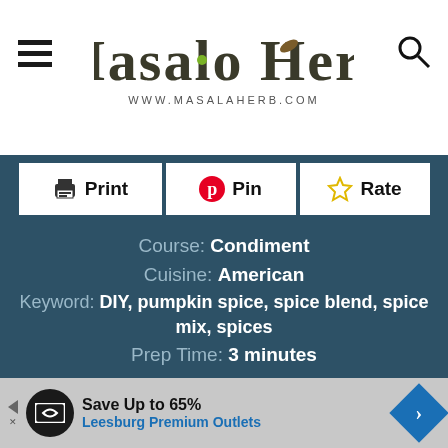Masalo Herb — www.MasalaHerb.com
Print | Pin | Rate
Course: Condiment
Cuisine: American
Keyword: DIY, pumpkin spice, spice blend, spice mix, spices
Prep Time: 3 minutes
Total Time: 3 minutes
Servings: 2 Tablespoons
Calories: 24kcal
Recipe by: Helene Dsouza
Save Up to 65% Leesburg Premium Outlets